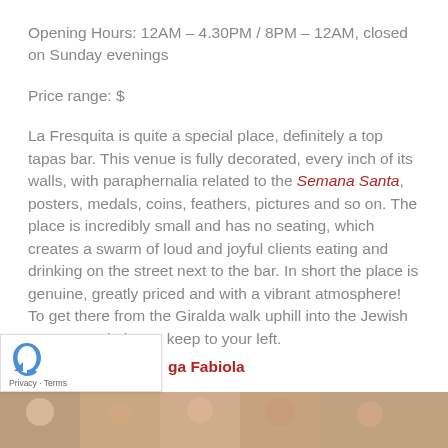Opening Hours: 12AM – 4.30PM / 8PM – 12AM, closed on Sunday evenings
Price range: $
La Fresquita is quite a special place, definitely a top tapas bar. This venue is fully decorated, every inch of its walls, with paraphernalia related to the Semana Santa, posters, medals, coins, feathers, pictures and so on. The place is incredibly small and has no seating, which creates a swarm of loud and joyful clients eating and drinking on the street next to the bar. In short the place is genuine, greatly priced and with a vibrant atmosphere! To get there from the Giralda walk uphill into the Jewish Quarter and always keep to your left.
ga Fabiola
[Figure (photo): Photo strip showing people at a bar or restaurant]